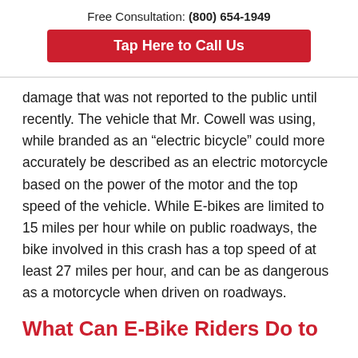Free Consultation: (800) 654-1949
Tap Here to Call Us
damage that was not reported to the public until recently. The vehicle that Mr. Cowell was using, while branded as an “electric bicycle” could more accurately be described as an electric motorcycle based on the power of the motor and the top speed of the vehicle. While E-bikes are limited to 15 miles per hour while on public roadways, the bike involved in this crash has a top speed of at least 27 miles per hour, and can be as dangerous as a motorcycle when driven on roadways.
What Can E-Bike Riders Do to